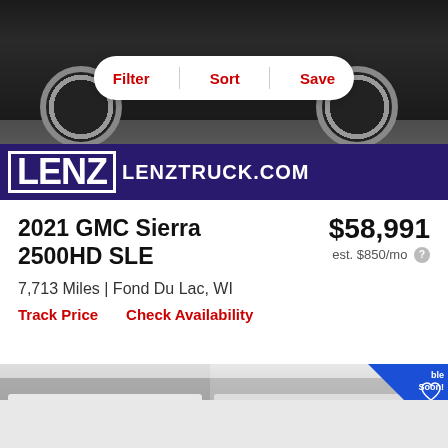[Figure (photo): Dark GMC Sierra 2500HD truck photo with LENZ LENZTRUCK.COM dealership banner at bottom]
[Figure (screenshot): Filter/Sort/Save navigation bar overlay on photo]
2021 GMC Sierra 2500HD SLE
$58,991
est. $850/mo
7,713 Miles | Fond Du Lac, WI
Track Price   Check Availability
[Figure (photo): White GMC Sierra 2500HD truck side view with Available Soon ribbon]